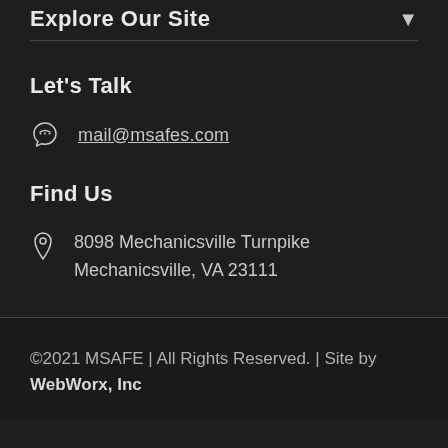Explore Our Site
Let's Talk
mail@msafes.com
Find Us
8098 Mechanicsville Turnpike Mechanicsville, VA 23111
©2021 MSAFE | All Rights Reserved. | Site by WebWorx, Inc